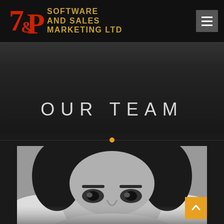[Figure (logo): 7&P Software and Sales Marketing Ltd logo with red stylized 7&P monogram and gold company name text on black background]
OUR TEAM
[Figure (photo): Black and white close-up photo of a person's face (forehead and eyes visible) with dark hair, looking upward, cropped at bottom of frame]